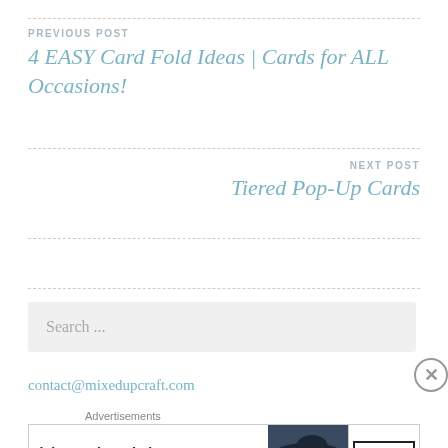PREVIOUS POST
4 EASY Card Fold Ideas | Cards for ALL Occasions!
NEXT POST
Tiered Pop-Up Cards
Search ...
contact@mixedupcraft.com
Advertisements
[Figure (other): Bloomingdale's advertisement banner with logo, 'View Today's Top Deals!' tagline, a woman in a hat, and 'SHOP NOW >' button]